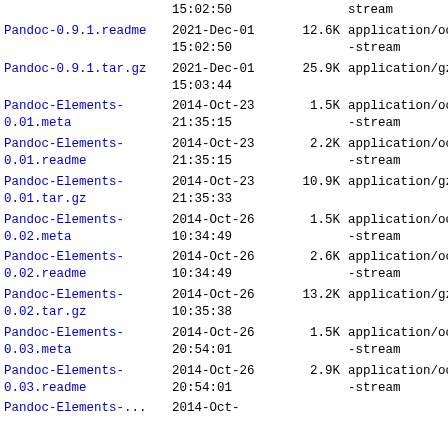| Name | Date | Size | Type |
| --- | --- | --- | --- |
| Pandoc-0.9.1.readme | 2021-Dec-01 15:02:50 | 12.6K | application/octet-stream |
| Pandoc-0.9.1.tar.gz | 2021-Dec-01 15:03:44 | 25.9K | application/gzip |
| Pandoc-Elements-0.01.meta | 2014-Oct-23 21:35:15 | 1.5K | application/octet-stream |
| Pandoc-Elements-0.01.readme | 2014-Oct-23 21:35:15 | 2.2K | application/octet-stream |
| Pandoc-Elements-0.01.tar.gz | 2014-Oct-23 21:35:33 | 10.9K | application/gzip |
| Pandoc-Elements-0.02.meta | 2014-Oct-26 10:34:49 | 1.5K | application/octet-stream |
| Pandoc-Elements-0.02.readme | 2014-Oct-26 10:34:49 | 2.6K | application/octet-stream |
| Pandoc-Elements-0.02.tar.gz | 2014-Oct-26 10:35:38 | 13.2K | application/gzip |
| Pandoc-Elements-0.03.meta | 2014-Oct-26 20:54:01 | 1.5K | application/octet-stream |
| Pandoc-Elements-0.03.readme | 2014-Oct-26 20:54:01 | 2.9K | application/octet-stream |
| Pandoc-Elements-... | 2014-Oct-... |  |  |